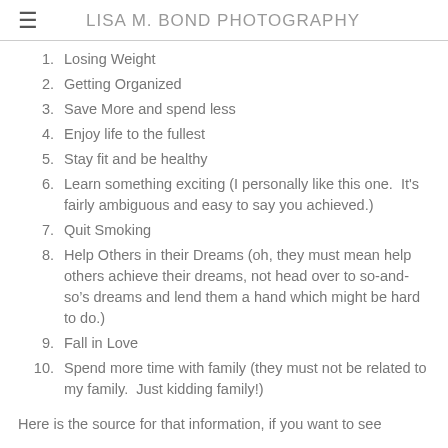LISA M. BOND PHOTOGRAPHY
1. Losing Weight
2. Getting Organized
3. Save More and spend less
4. Enjoy life to the fullest
5. Stay fit and be healthy
6. Learn something exciting (I personally like this one.  It's fairly ambiguous and easy to say you achieved.)
7. Quit Smoking
8. Help Others in their Dreams (oh, they must mean help others achieve their dreams, not head over to so-and-so’s dreams and lend them a hand which might be hard to do.)
9. Fall in Love
10. Spend more time with family (they must not be related to my family.  Just kidding family!)
Here is the source for that information, if you want to see